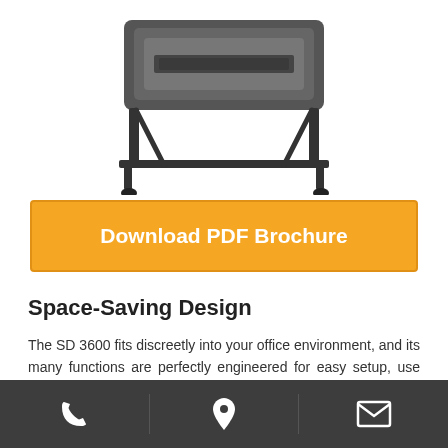[Figure (illustration): Product photo of an SD 3600 scanner shown from above/front, dark grey body with black frame and wheels]
Download PDF Brochure
Space-Saving Design
The SD 3600 fits discreetly into your office environment, and its many functions are perfectly engineered for easy setup, use and maintenance.
Lightweight and Transportable
Many businesses find it convenient to be able to move their scanners around the office, close to archiving equipment or
Phone | Location | Email (navigation icons)